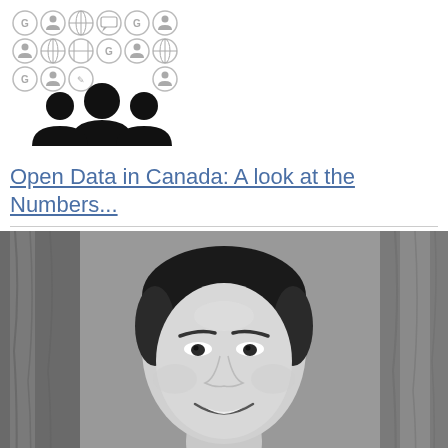[Figure (illustration): Grid of small circular social media / open data icons (Google, Facebook, YouTube, chat, etc.) arranged in rows, followed by a large group-of-people silhouette icon in black]
Open Data in Canada: A look at the Numbers...
[Figure (photo): Black and white portrait photo of a smiling Asian man, appears to be a professional or government headshot, with a wood-grain background]